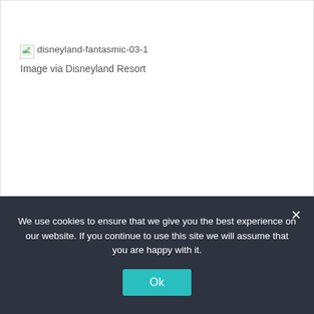[Figure (photo): Broken image placeholder for 'disneyland-fantasmic-03-1' with alt text displayed]
Image via Disneyland Resort
We use cookies to ensure that we give you the best experience on our website. If you continue to use this site we will assume that you are happy with it.